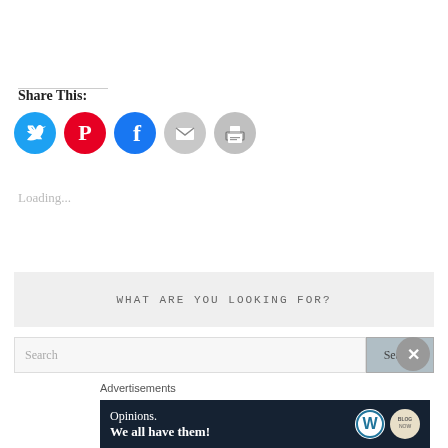Share This:
[Figure (infographic): Row of five social sharing icon circles: Twitter (blue), Pinterest (red), Facebook (blue), Email (grey), Print (grey)]
Loading...
WHAT ARE YOU LOOKING FOR?
Search
Search
Advertisements
[Figure (infographic): Dark navy ad banner reading 'Opinions. We all have them!' with WordPress logo and circular blog logo on right]